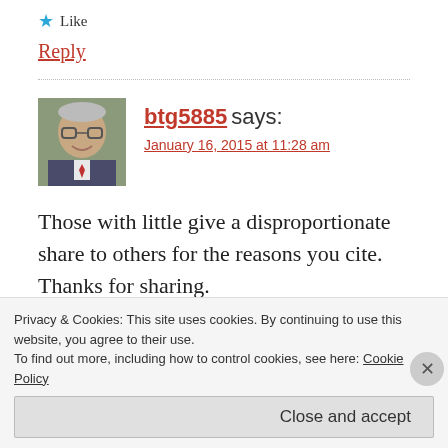★ Like
Reply
btg5885 says:
January 16, 2015 at 11:28 am
[Figure (photo): Avatar photo of btg5885, a man in a suit smiling]
Those with little give a disproportionate share to others for the reasons you cite. Thanks for sharing.
Privacy & Cookies: This site uses cookies. By continuing to use this website, you agree to their use.
To find out more, including how to control cookies, see here: Cookie Policy
Close and accept